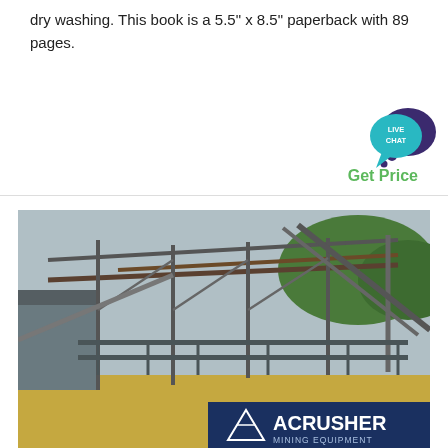dry washing. This book is a 5.5" x 8.5" paperback with 89 pages.
[Figure (other): Live Chat bubble icon with teal chat bubble and dark purple thought bubble]
Get Price
[Figure (photo): Industrial mining/crushing facility with steel frame structure, conveyor belts, and ACRUSHER MINING EQUIPMENT logo/banner visible at the bottom]